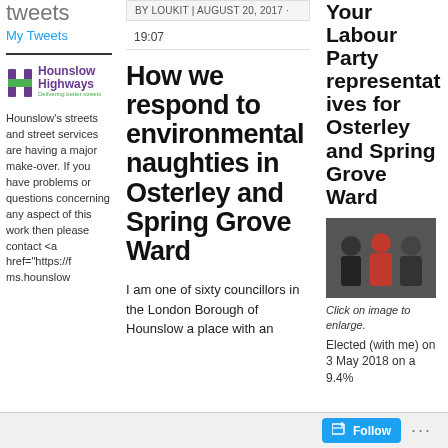tweets
My Tweets
[Figure (logo): Hounslow Highways logo with purple H graphic and tagline 'Delivering better streets']
Hounslow's streets and street services are having a major make-over. If you have problems or questions concerning any aspect of this work then please contact <a href="https://fms.hounslow
BY LOUKIT | AUGUST 20, 2017 · 19:07
How we respond to environmental naughties in Osterley and Spring Grove Ward
I am one of sixty councillors in the London Borough of Hounslow a place with an
Your Labour Party representatives for Osterley and Spring Grove Ward
[Figure (photo): Three people standing together, photo of Labour councillors]
Click on image to enlarge. Elected (with me) on 3 May 2018 on a 9.4%